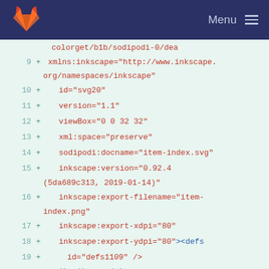GitLab navigation bar with logo and Menu
[Figure (screenshot): GitLab fox logo in orange/red on dark navy background]
Menu
9  +  xmlns:inkscape="http://www.inkscape.org/namespaces/inkscape"
10 +     id="svg20"
11 +     version="1.1"
12 +     viewBox="0 0 32 32"
13 +     xml:space="preserve"
14 +     sodipodi:docname="item-index.svg"
15 +     inkscape:version="0.92.4 (5da689c313, 2019-01-14)"
16 +     inkscape:export-filename="item-index.png"
17 +     inkscape:export-xdpi="80"
18 +     inkscape:export-ydpi="80"><defs
19 +         id="defs1109" />
    <sodipodi:namedview
20 +         pagecolor="#ffffff"
21 +         bordercolor="#666666"
22 +         borderopacity="1"
23 +         objecttolerance="10"